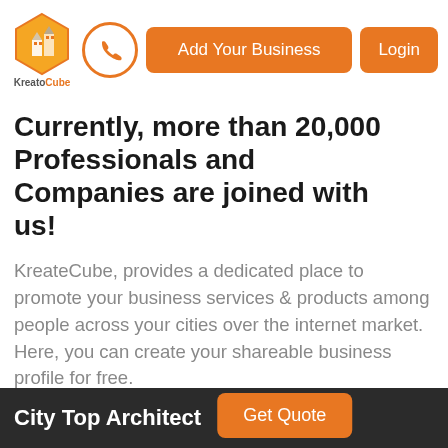[Figure (logo): KreateCube logo: hexagon icon with building/cube graphic in yellow-orange, with text KreateCube below]
Add Your Business | Login
Currently, more than 20,000 Professionals and Companies are joined with us!
KreateCube, provides a dedicated place to promote your business services & products among people across your cities over the internet market. Here, you can create your shareable business profile for free.
Join Us
City Top Architect   Get Quote